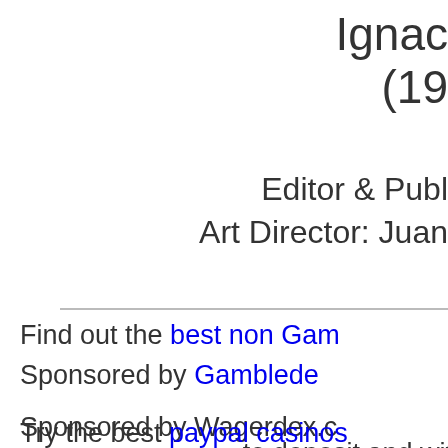Ignac (19
Editor & Publ Art Director: Juan
Find out the best non Gam
Sponsored by Gamblede
Sponsored by Wagerdex.c onli
Try the best paypal casinos to deposit and with